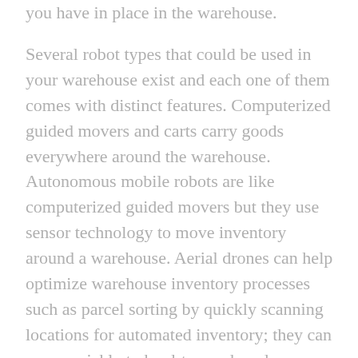you have in place in the warehouse.
Several robot types that could be used in your warehouse exist and each one of them comes with distinct features. Computerized guided movers and carts carry goods everywhere around the warehouse. Autonomous mobile robots are like computerized guided movers but they use sensor technology to move inventory around a warehouse. Aerial drones can help optimize warehouse inventory processes such as parcel sorting by quickly scanning locations for automated inventory; they can move quickly to hard-to-reach and dangerous spots within the warehouse. Automated storage and retrieval systems are other kinds of technology that moves inventory in and out of storage. These and the other aforementioned types will help cut your labor costs by reducing the number of laborers and time spent on retrieval, delivery, and sorting of inventory. Moreover, your workers can spend more time in other complicated operations such as packaging and